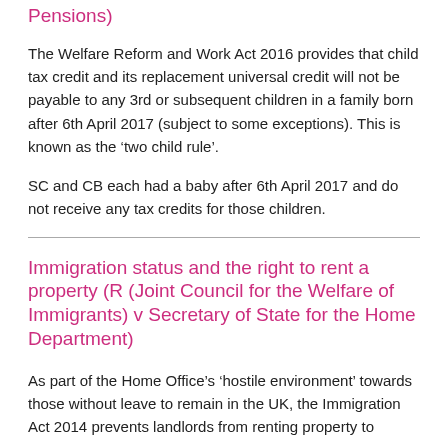Pensions)
The Welfare Reform and Work Act 2016 provides that child tax credit and its replacement universal credit will not be payable to any 3rd or subsequent children in a family born after 6th April 2017 (subject to some exceptions). This is known as the ‘two child rule’.
SC and CB each had a baby after 6th April 2017 and do not receive any tax credits for those children.
Immigration status and the right to rent a property (R (Joint Council for the Welfare of Immigrants) v Secretary of State for the Home Department)
As part of the Home Office’s ‘hostile environment’ towards those without leave to remain in the UK, the Immigration Act 2014 prevents landlords from renting property to